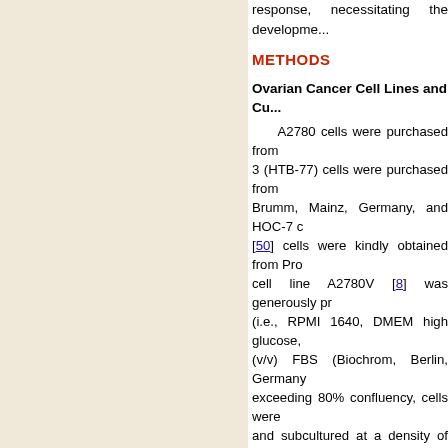response, necessitating the developme...
METHODS
Ovarian Cancer Cell Lines and Cu...
A2780 cells were purchased from... 3 (HTB-77) cells were purchased from... Brumm, Mainz, Germany, and HOC-7 c... [50] cells were kindly obtained from Pro... cell line A2780V [8] was generously pr... (i.e., RPMI 1640, DMEM high glucose,... (v/v) FBS (Biochrom, Berlin, Germany... exceeding 80% confluency, cells were ... and subcultured at a density of 1x10⁴ c...
Flow Cytometry
Flow cytometric analyses and cell... analyses were also performed on a FA... BD Biosciences). Propidium iodide (eB... included in all staining protocols (e... doublets/aggregates were excluded ba... Software, Ashland, CA).
SP analysis and sorting was pe... (analysis) or 5x10⁶ (cell sorting) cells/m...